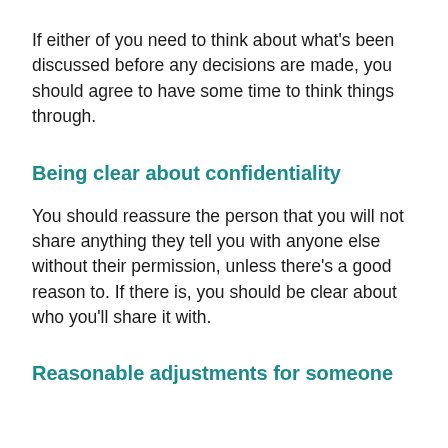If either of you need to think about what's been discussed before any decisions are made, you should agree to have some time to think things through.
Being clear about confidentiality
You should reassure the person that you will not share anything they tell you with anyone else without their permission, unless there's a good reason to. If there is, you should be clear about who you'll share it with.
Reasonable adjustments for someone